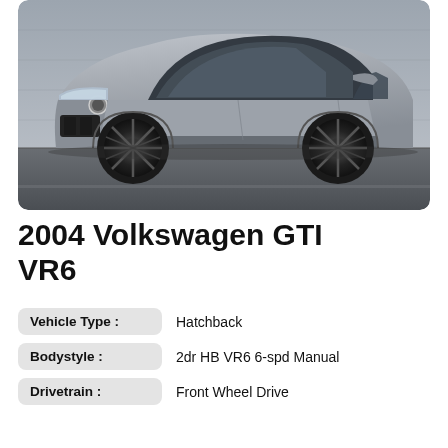[Figure (photo): Silver 2004 Volkswagen GTI VR6 hatchback with black alloy wheels, parked on a street with a concrete wall in the background, viewed from the front-left angle.]
2004 Volkswagen GTI VR6
Vehicle Type : Hatchback
Bodystyle : 2dr HB VR6 6-spd Manual
Drivetrain : Front Wheel Drive